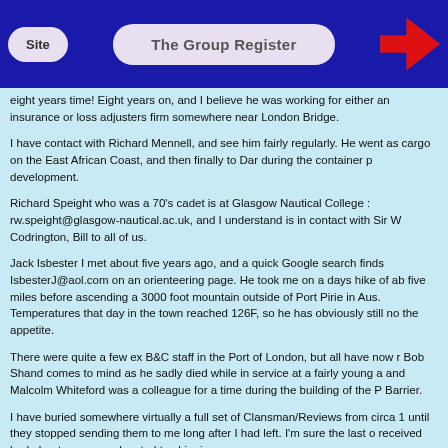Site   The Group Register
eight years time! Eight years on, and I believe he was working for either an insurance or loss adjusters firm somewhere near London Bridge.
I have contact with Richard Mennell, and see him fairly regularly. He went as cargo on the East African Coast, and then finally to Dar during the container p development.
Richard Speight who was a 70's cadet is at Glasgow Nautical College : rw.speight@glasgow-nautical.ac.uk, and I understand is in contact with Sir W Codrington, Bill to all of us.
Jack Isbester I met about five years ago, and a quick Google search finds IsbesterJ@aol.com on an orienteering page. He took me on a days hike of ab five miles before ascending a 3000 foot mountain outside of Port Pirie in Aus. Temperatures that day in the town reached 126F, so he has obviously still no the appetite.
There were quite a few ex B&C staff in the Port of London, but all have now r Bob Shand comes to mind as he sadly died while in service at a fairly young a and Malcolm Whiteford was a colleague for a time during the building of the P Barrier.
I have buried somewhere virtually a full set of Clansman/Reviews from circa 1 until they stopped sending them to me long after I had left. I'm sure the last o received had about one page devoted to shipping.